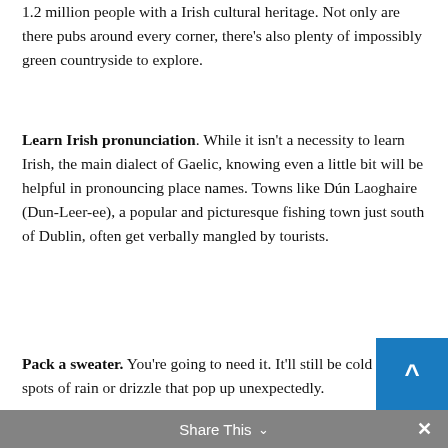1.2 million people with Irish cultural heritage. Not only are there pubs around every corner, there's also plenty of impossibly green countryside to explore.
Learn Irish pronunciation. While it isn't a necessity to learn Irish, the main dialect of Gaelic, knowing even a little bit will be helpful in pronouncing place names. Towns like Dún Laoghaire (Dun-Leer-ee), a popular and picturesque fishing town just south of Dublin, often get verbally mangled by tourists.
Pack a sweater. You're going to need it. It'll still be cold with spots of rain or drizzle that pop up unexpectedly.
Reserve a stay at Ashford Castle. If you can afford the accommodations, grab a room at one of Ireland's most scenic castles. The castle, built in
Share This